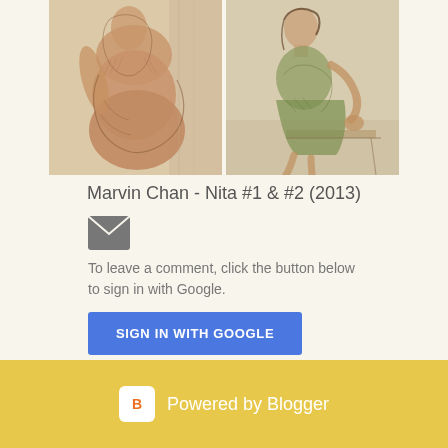[Figure (illustration): Two sketch/drawing artworks side by side: left shows a figure from behind (nude figure study), right shows a seated figure. Both are charcoal or pencil drawings with warm tones.]
Marvin Chan - Nita #1 & #2 (2013)
[Figure (other): Email/message icon (envelope icon)]
To leave a comment, click the button below to sign in with Google.
SIGN IN WITH GOOGLE
Powered by Blogger